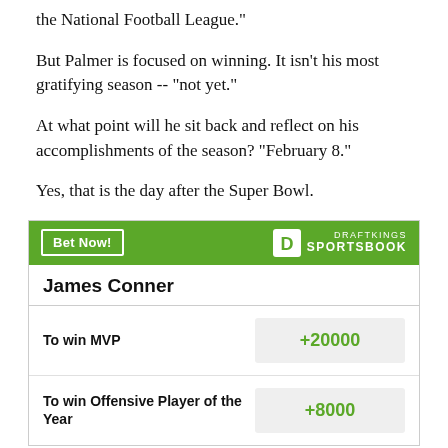the National Football League."
But Palmer is focused on winning. It isn't his most gratifying season -- "not yet."
At what point will he sit back and reflect on his accomplishments of the season? "February 8."
Yes, that is the day after the Super Bowl.
| Bet | Odds |
| --- | --- |
| To win MVP | +20000 |
| To win Offensive Player of the Year | +8000 |